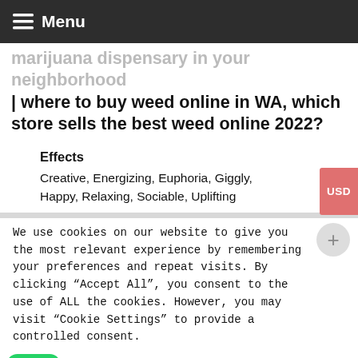Menu
marijuana dispensary in your neighborhood | where to buy weed online in WA, which store sells the best weed online 2022?
Effects
Creative, Energizing, Euphoria, Giggly, Happy, Relaxing, Sociable, Uplifting
We use cookies on our website to give you the most relevant experience by remembering your preferences and repeat visits. By clicking "Accept All", you consent to the use of ALL the cookies. However, you may visit "Cookie Settings" to provide a controlled consent.
Cookie Settings  Accept All